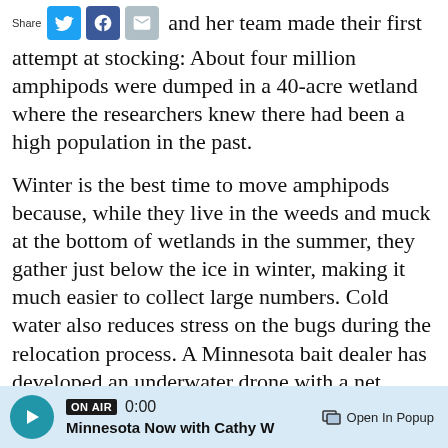[Figure (other): Share bar with Twitter, Facebook, and Email icons followed by inline text: 'and her team made their first attempt at stocking: About four million amphipods were dumped in a 40-acre wetland where the researchers knew there had been a high population in the past.']
Winter is the best time to move amphipods because, while they live in the weeds and muck at the bottom of wetlands in the summer, they gather just below the ice in winter, making it much easier to collect large numbers. Cold water also reduces stress on the bugs during the relocation process. A Minnesota bait dealer has developed an underwater drone with a net attached that sweeps up large numbers of amphipods under the ice.
[Figure (other): Audio player bar: ON AIR badge, 0:00 timestamp, title 'Minnesota Now with Cathy W', Open In Popup button, teal play button]